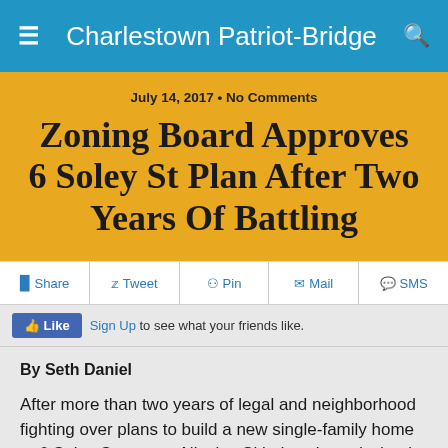Charlestown Patriot-Bridge
July 14, 2017 • No Comments
Zoning Board Approves 6 Soley St Plan After Two Years Of Battling
f Share  🐦 Tweet  📌 Pin  ✉ Mail  💬 SMS
Like  Sign Up to see what your friends like.
By Seth Daniel
After more than two years of legal and neighborhood fighting over plans to build a new single-family home at 6 Soley St., owner Nicolas Skiadas cleared what is